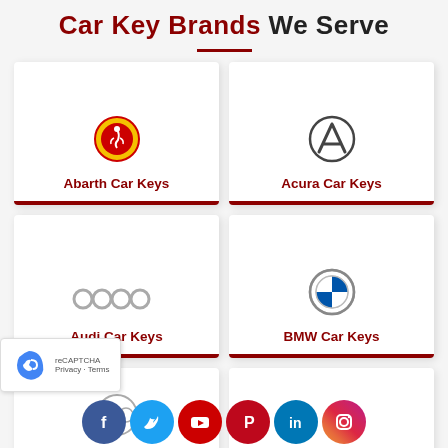Car Key Brands We Serve
[Figure (illustration): Card with Abarth logo and label 'Abarth Car Keys']
[Figure (illustration): Card with Acura logo and label 'Acura Car Keys']
[Figure (illustration): Card with Audi logo and label 'Audi Car Keys']
[Figure (illustration): Card with BMW logo and label 'BMW Car Keys']
[Figure (illustration): Partial card with Buick logo and label 'Buick Car Keys']
[Figure (illustration): Partial card with Cadillac logo and label 'Cadillac Car Keys']
[Figure (infographic): Social media icons bar: Facebook, Twitter, YouTube, Pinterest, LinkedIn, Instagram]